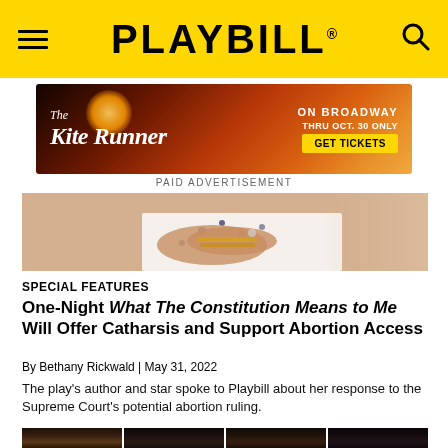PLAYBILL
[Figure (illustration): The Kite Runner advertisement banner — ON BROADWAY THRU OCT. 30 ONLY, GET TICKETS]
PAID ADVERTISEMENT
[Figure (photo): Close-up of woman's hands crossed over chest wearing bracelets and patterned top]
SPECIAL FEATURES
One-Night What The Constitution Means to Me Will Offer Catharsis and Support Abortion Access
By Bethany Rickwald | May 31, 2022
The play's author and star spoke to Playbill about her response to the Supreme Court's potential abortion ruling.
[Figure (photo): Strip of four headshot photos of people at bottom of page]